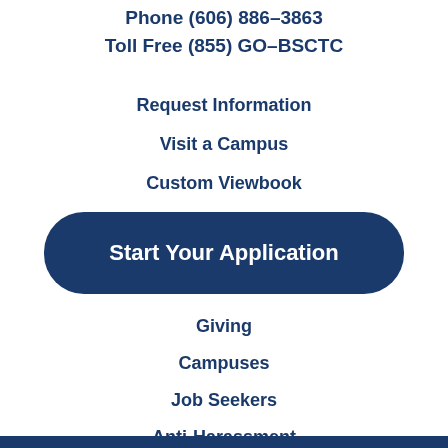Phone (606) 886-3863
Toll Free (855) GO-BSCTC
Request Information
Visit a Campus
Custom Viewbook
Start Your Application
Giving
Campuses
Job Seekers
Anti-Harassment